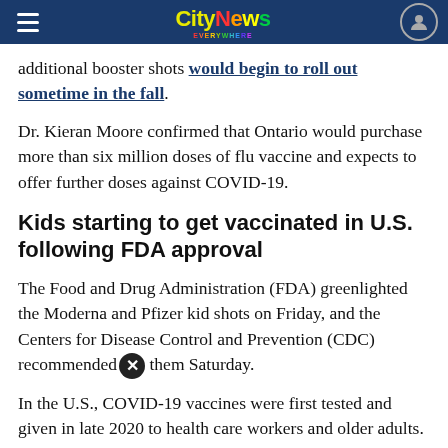CityNews Everywhere
additional booster shots would begin to roll out sometime in the fall.
Dr. Kieran Moore confirmed that Ontario would purchase more than six million doses of flu vaccine and expects to offer further doses against COVID-19.
Kids starting to get vaccinated in U.S. following FDA approval
The Food and Drug Administration (FDA) greenlighted the Moderna and Pfizer kid shots on Friday, and the Centers for Disease Control and Prevention (CDC) recommended them Saturday.
In the U.S., COVID-19 vaccines were first tested and given in late 2020 to health care workers and older adults. Teens and school-age kids were added last year